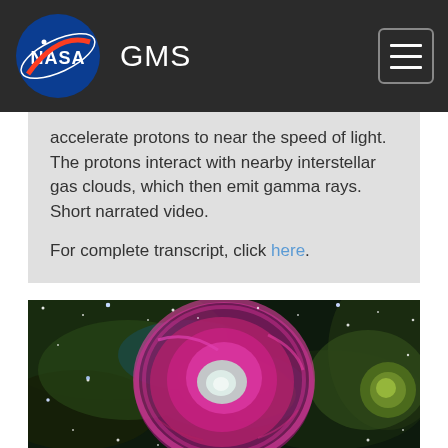GMS
accelerate protons to near the speed of light. The protons interact with nearby interstellar gas clouds, which then emit gamma rays. Short narrated video.

For complete transcript, click here.
[Figure (photo): Composite astronomical image of a nebula/supernova remnant showing magenta/pink glowing gas clouds surrounded by stars in green and dark space background.]